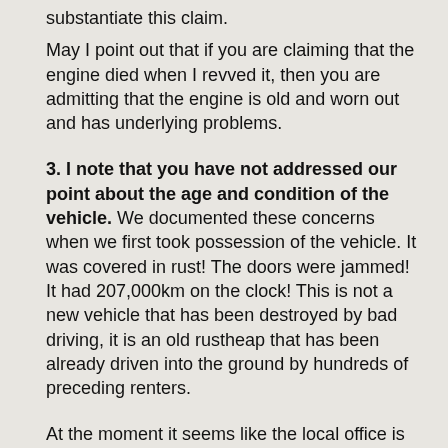substantiate this claim.
May I point out that if you are claiming that the engine died when I revved it, then you are admitting that the engine is old and worn out and has underlying problems.
3. I note that you have not addressed our point about the age and condition of the vehicle. We documented these concerns when we first took possession of the vehicle. It was covered in rust! The doors were jammed! It had 207,000km on the clock! This is not a new vehicle that has been destroyed by bad driving, it is an old rustheap that has been already driven into the ground by hundreds of preceding renters.
At the moment it seems like the local office is making up speculative reasons so that we have to pay to replace an worn vehicle motor which died of old age and overuse. Dirt road driving and revving too hard? Seriously?